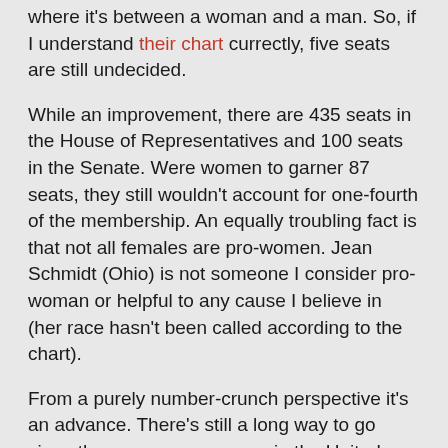where it's between a woman and a man. So, if I understand their chart currectly, five seats are still undecided.
While an improvement, there are 435 seats in the House of Representatives and 100 seats in the Senate. Were women to garner 87 seats, they still wouldn't account for one-fourth of the membership. An equally troubling fact is that not all females are pro-women. Jean Schmidt (Ohio) is not someone I consider pro-woman or helpful to any cause I believe in (her race hasn't been called according to the chart).
From a purely number-crunch perspective it's an advance. There's still a long way to go since there are more women in the United States than there are men. It's also true that we need pro-women representatives and not just Double-X chromes filling seats. C.I. provided the link in the snapshot and I wanted to note it here. C.I. held the tongue (not about Feminist Majority) because we're going to be tackling something at The Third Estate Sunday Review. Until that feature's written, I'll just urge you to check out the Feminist Majority and note that there aren't a lot worth visiting;